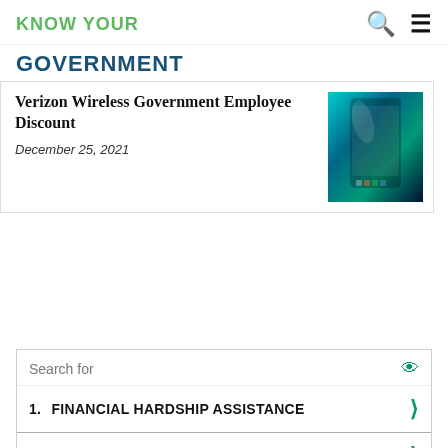KNOW YOUR
GOVERNMENT
Verizon Wireless Government Employee Discount
December 25, 2021
[Figure (photo): Smartphone image with teal/green gradient background showing a mobile phone]
Search for
1. FINANCIAL HARDSHIP ASSISTANCE
2. CHEAP FORECLOSED HOMES
Ad | Business Focus